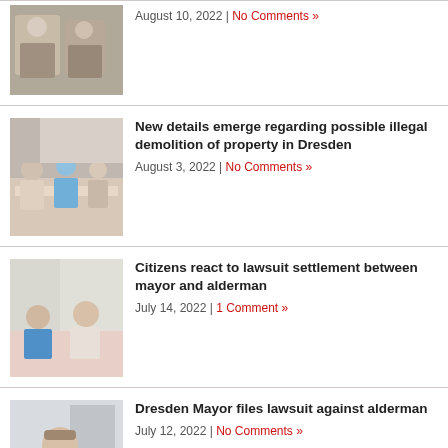[Figure (photo): Group photo of people seated, partial view at top of page]
August 10, 2022 | No Comments »
[Figure (photo): People seated at a table with a pink tablecloth at a meeting]
New details emerge regarding possible illegal demolition of property in Dresden
August 3, 2022 | No Comments »
[Figure (photo): Two men seated at a meeting table, one younger and one older]
Citizens react to lawsuit settlement between mayor and alderman
July 14, 2022 | 1 Comment »
[Figure (photo): Older man in white shirt looking upward, partial view]
Dresden Mayor files lawsuit against alderman
July 12, 2022 | No Comments »